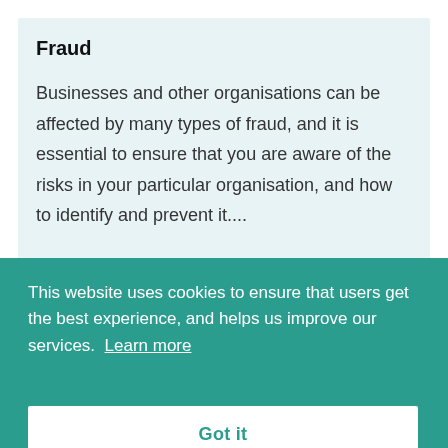Fraud
Businesses and other organisations can be affected by many types of fraud, and it is essential to ensure that you are aware of the risks in your particular organisation, and how to identify and prevent it....
Bo
A botnet is a network of computers that have been intentionally infected with malware by cybercriminals in order to perform automated
This website uses cookies to ensure that users get the best experience, and helps us improve our services. Learn more
Got it